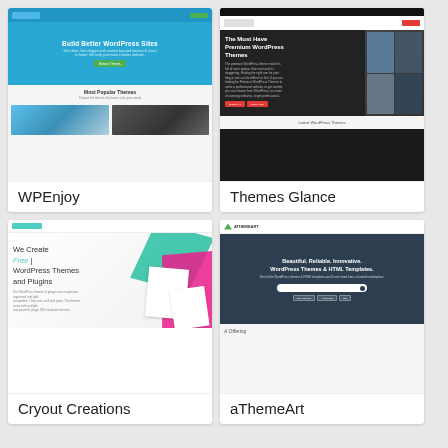[Figure (screenshot): WPEnjoy website screenshot showing a WordPress theme marketplace with blue hero section saying 'Build Better WordPress Sites' and theme thumbnails below]
WPEnjoy
[Figure (screenshot): Themes Glance website screenshot showing a dark-themed premium WordPress themes marketplace with red accents and 'The Must Have Premium WordPress Themes' headline]
Themes Glance
[Figure (screenshot): Cryout Creations website screenshot showing a clean white design with colorful diagonal shapes and text 'We Create Free WordPress Themes and Plugins']
Cryout Creations
[Figure (screenshot): aThemeArt website screenshot showing a dark navy hero with text 'Beautiful. Reliable. Innovative. WordPress Themes & HTML Templates.' and a search bar]
aThemeArt